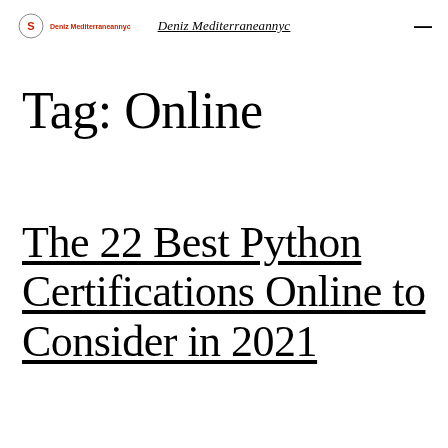Deniz Mediterraneannyc
Tag: Online
The 22 Best Python Certifications Online to Consider in 2021